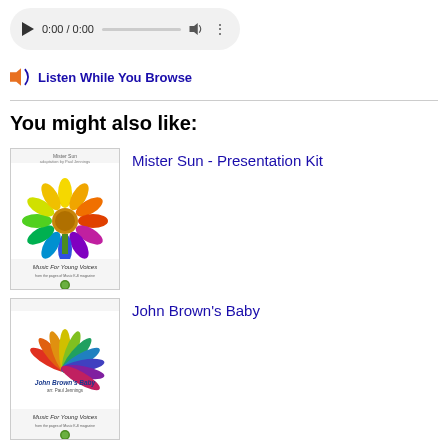[Figure (screenshot): Audio player bar showing play button, 0:00 / 0:00 time, progress slider, volume icon, and more options icon on a light grey pill-shaped background]
Listen While You Browse
You might also like:
[Figure (illustration): Thumbnail cover of 'Mister Sun - Presentation Kit' showing a colorful sunflower with rainbow-colored petals on a white background, with 'Music For Young Voices' text at bottom]
Mister Sun - Presentation Kit
[Figure (illustration): Thumbnail cover of 'John Brown's Baby' showing colorful feather-like shapes arranged in a circular pattern on white background, with 'Music For Young Voices' text at bottom]
John Brown's Baby